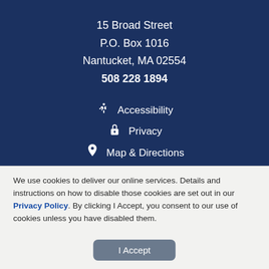15 Broad Street
P.O. Box 1016
Nantucket, MA 02554
508 228 1894
♿ Accessibility
🔒 Privacy
📍 Map & Directions
We use cookies to deliver our online services. Details and instructions on how to disable those cookies are set out in our Privacy Policy. By clicking I Accept, you consent to our use of cookies unless you have disabled them.
I Accept